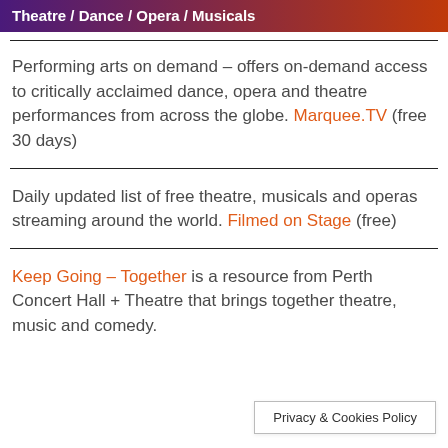Theatre / Dance / Opera / Musicals
Performing arts on demand – offers on-demand access to critically acclaimed dance, opera and theatre performances from across the globe. Marquee.TV (free 30 days)
Daily updated list of free theatre, musicals and operas streaming around the world. Filmed on Stage (free)
Keep Going – Together is a resource from Perth Concert Hall + Theatre that brings together theatre, music and comedy.
Privacy & Cookies Policy